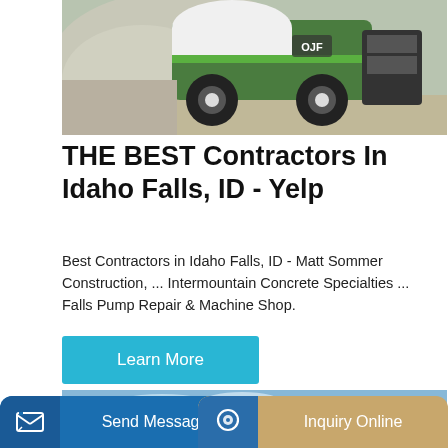[Figure (photo): Green and white construction loader/mixer machine on a gravel/dirt work site with gray rock pile in background]
THE BEST Contractors In Idaho Falls, ID - Yelp
Best Contractors in Idaho Falls, ID - Matt Sommer Construction, ... Intermountain Concrete Specialties ... Falls Pump Repair & Machine Shop.
Learn More
[Figure (photo): Green and white concrete mixer truck against blue sky background]
Send Message
Inquiry Online